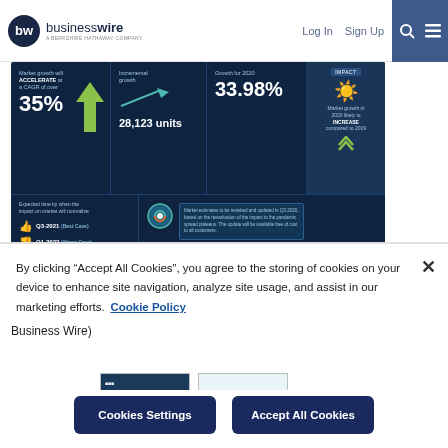businesswire A BERKSHIRE HATHAWAY COMPANY | Log In | Sign Up
[Figure (infographic): Technavio market research infographic showing: Market growth will ACCELERATE at a CAGR of over 35%, Incremental growth 28,123 units, Growth for 2020: 33.98%, Impact: Market growth in 2020 likely to INCREASE compared to 2019. Expected time by when the impact on market will normalize: Q3-2021 (Best Case), Q1-2022 (Worst Case). Notice about market estimates to be revisited in Q3-2020.]
Technavio has announced its latest market research report titled High-performance Electric Motorcycle Market 2020-2024 (Graphic: Business Wire)
By clicking “Accept All Cookies”, you agree to the storing of cookies on your device to enhance site navigation, analyze site usage, and assist in our marketing efforts.
Cookie Policy
Cookies Settings
Accept All Cookies